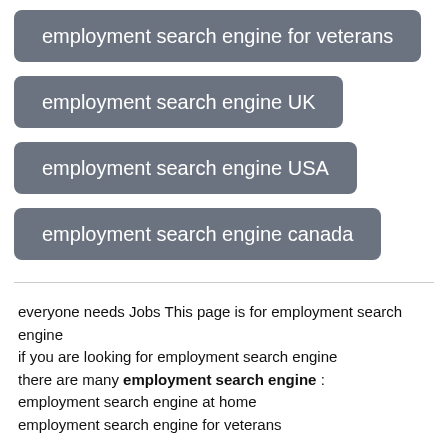employment search engine for veterans
employment search engine UK
employment search engine USA
employment search engine canada
everyone needs Jobs This page is for employment search engine
if you are looking for employment search engine
there are many employment search engine :
employment search engine at home
employment search engine for veterans